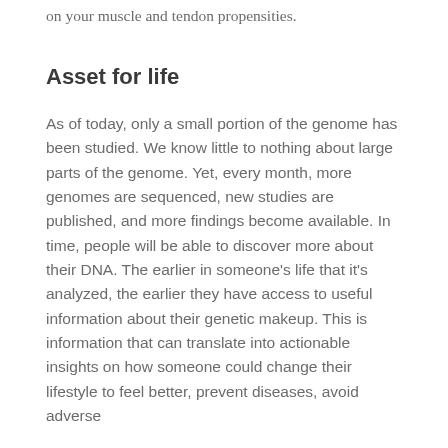on your muscle and tendon propensities.
Asset for life
As of today, only a small portion of the genome has been studied. We know little to nothing about large parts of the genome. Yet, every month, more genomes are sequenced, new studies are published, and more findings become available. In time, people will be able to discover more about their DNA. The earlier in someone's life that it's analyzed, the earlier they have access to useful information about their genetic makeup. This is information that can translate into actionable insights on how someone could change their lifestyle to feel better, prevent diseases, avoid adverse